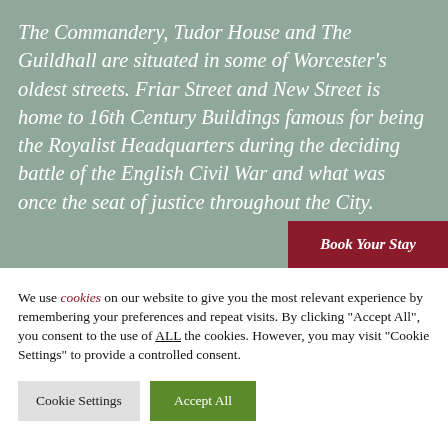The Commandery, Tudor House and The Guildhall are situated in some of Worcester's oldest streets. Friar Street and New Street is home to 16th Century Buildings famous for being the Royalist Headquarters during the deciding battle of the English Civil War and what was once the seat of justice throughout the City.
We use cookies on our website to give you the most relevant experience by remembering your preferences and repeat visits. By clicking "Accept All", you consent to the use of ALL the cookies. However, you may visit "Cookie Settings" to provide a controlled consent.